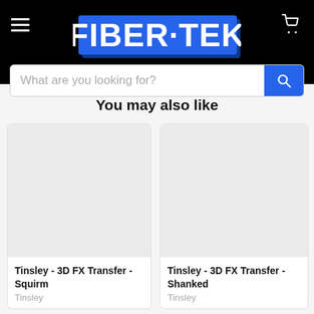[Figure (logo): Fiber-Tek logo in blue and white bold text on black background]
What are you looking for?
You may also like
[Figure (photo): Product image placeholder for Tinsley - 3D FX Transfer - Squirm (gray rectangle)]
Tinsley - 3D FX Transfer - Squirm
Tinsley
[Figure (photo): Product image placeholder for Tinsley - 3D FX Transfer - Shanked (gray rectangle)]
Tinsley - 3D FX Transfer - Shanked
Tinsley